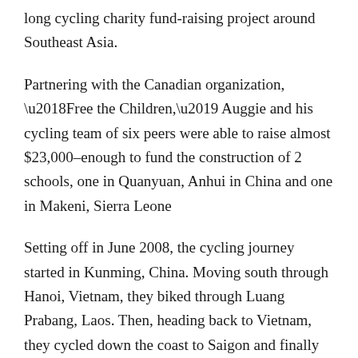long cycling charity fund-raising project around Southeast Asia.
Partnering with the Canadian organization, ‘Free the Children,’ Auggie and his cycling team of six peers were able to raise almost $23,000–enough to fund the construction of 2 schools, one in Quanyuan, Anhui in China and one in Makeni, Sierra Leone
Setting off in June 2008, the cycling journey started in Kunming, China. Moving south through Hanoi, Vietnam, they biked through Luang Prabang, Laos. Then, heading back to Vietnam, they cycled down the coast to Saigon and finally ended in Phnom Penh, Cambodia, two and a half months later.